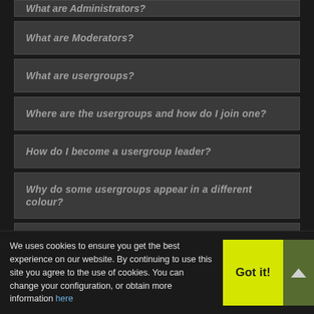What are Administrators?
What are Moderators?
What are usergroups?
Where are the usergroups and how do I join one?
How do I become a usergroup leader?
Why do some usergroups appear in a different colour?
What is a "Default usergroup"?
What is "The team" link?
PRIVATE MESSAGING
We uses cookies to ensure you get the best experience on our website. By continuing to use this site you agree to the use of cookies. You can change your configuration, or obtain more information here